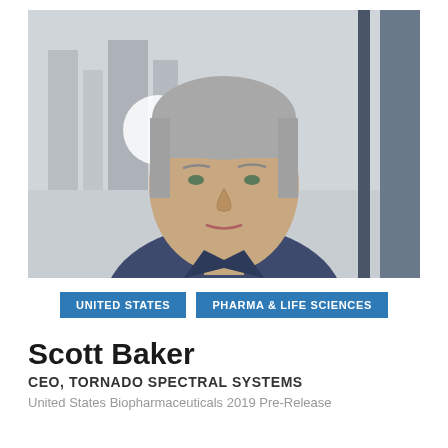[Figure (photo): Professional headshot of Scott Baker, a middle-aged man with short gray hair, wearing a dark blue button-up shirt, photographed indoors with a city view visible through a window in the background.]
UNITED STATES
PHARMA & LIFE SCIENCES
Scott Baker
CEO, TORNADO SPECTRAL SYSTEMS
United States Biopharmaceuticals 2019 Pre-Release